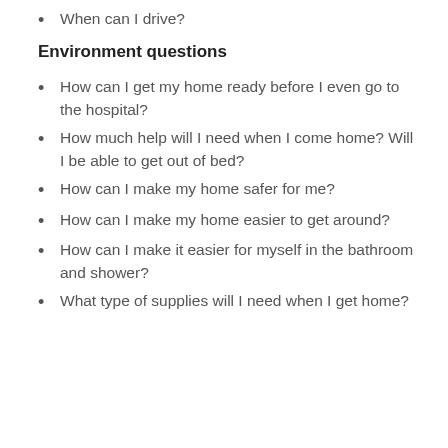When can I drive?
Environment questions
How can I get my home ready before I even go to the hospital?
How much help will I need when I come home? Will I be able to get out of bed?
How can I make my home safer for me?
How can I make my home easier to get around?
How can I make it easier for myself in the bathroom and shower?
What type of supplies will I need when I get home?